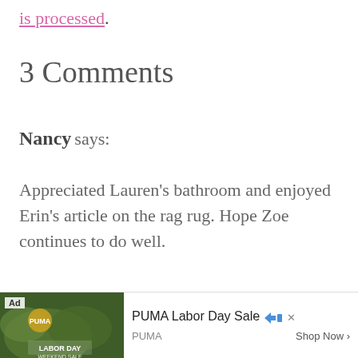is processed.
3 Comments
Nancy says:
Appreciated Lauren's bathroom and enjoyed Erin's article on the rag rug. Hope Zoe continues to do well.
Reply
[Figure (screenshot): PUMA Labor Day Sale advertisement banner with jungle background image, Ad label, PUMA brand text, and Shop Now button]